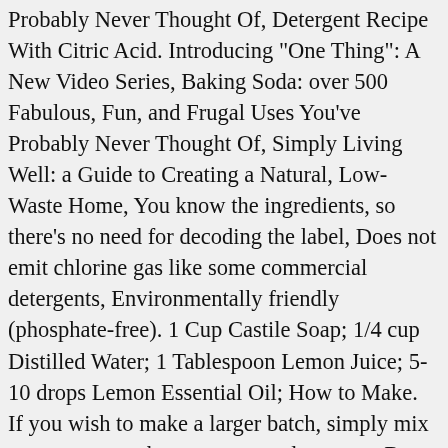Probably Never Thought Of, Detergent Recipe With Citric Acid. Introducing "One Thing": A New Video Series, Baking Soda: over 500 Fabulous, Fun, and Frugal Uses You've Probably Never Thought Of, Simply Living Well: a Guide to Creating a Natural, Low-Waste Home, You know the ingredients, so there's no need for decoding the label, Does not emit chlorine gas like some commercial detergents, Environmentally friendly (phosphate-free). 1 Cup Castile Soap; 1/4 cup Distilled Water; 1 Tablespoon Lemon Juice; 5-10 drops Lemon Essential Oil; How to Make. If you wish to make a larger batch, simply mix one-to-one, such as one cup and one cup. Best Dishwasher Detergent. Keep prepared detergent out of the reach of children and pets. For now, feel free to continue reading. Course/Dish: Soaps. Mar 15, 2019 - Explore Josie Mitchum's board "Homemade Dishwasher Detergent", followed by 352 people on Pinterest. 1 cup baking soda or washing soda 1 cup Borax 1-2 drops of scented oil